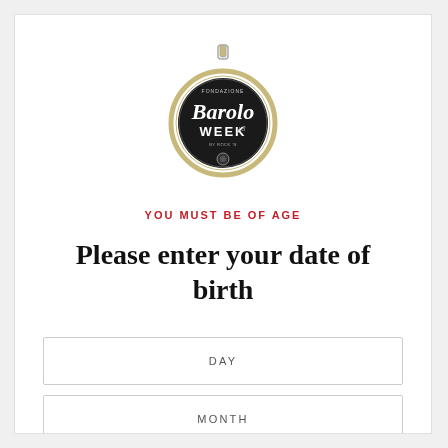[Figure (logo): Barolo Week circular pocket-watch style logo with gold/tan border, black center, italic script 'Barolo' text, 'WEEK' text, and small decorative elements]
YOU MUST BE OF AGE
Please enter your date of birth
DAY
MONTH